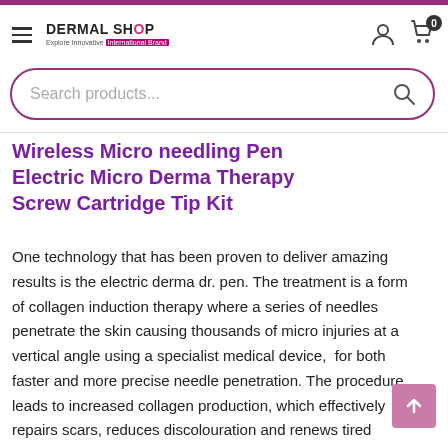DERMAL SHOP — Explore Innovative International Brand
Search products...
Wireless Micro needling Pen Electric Micro Derma Therapy Screw Cartridge Tip Kit
One technology that has been proven to deliver amazing results is the electric derma dr. pen. The treatment is a form of collagen induction therapy where a series of needles penetrate the skin causing thousands of micro injuries at a vertical angle using a specialist medical device, for both faster and more precise needle penetration. The procedure leads to increased collagen production, which effectively repairs scars, reduces discolouration and renews tired looking skin.